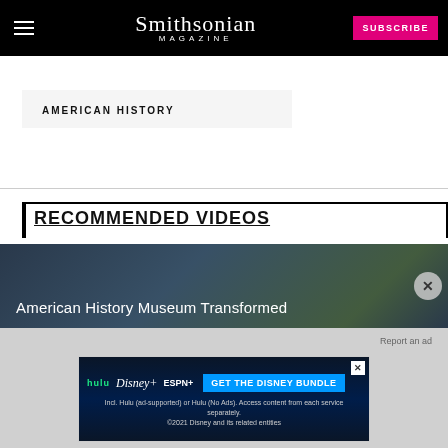Smithsonian Magazine — SUBSCRIBE
AMERICAN HISTORY
RECOMMENDED VIDEOS
[Figure (screenshot): Video thumbnail for 'American History Museum Transformed' with dark background and close button]
[Figure (screenshot): Disney Bundle advertisement banner: hulu, Disney+, ESPN+ — GET THE DISNEY BUNDLE. Incl. Hulu (ad-supported) or Hulu (No Ads). Access content from each service separately. ©2021 Disney and its related entities]